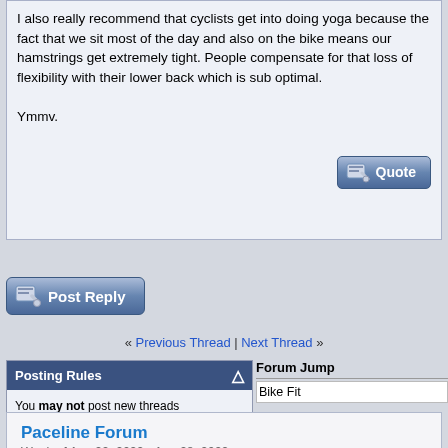I also really recommend that cyclists get into doing yoga because the fact that we sit most of the day and also on the bike means our hamstrings get extremely tight. People compensate for that loss of flexibility with their lower back which is sub optimal.

Ymmv.
[Figure (screenshot): Quote button - blue gradient button with pencil/paper icon and text 'Quote']
[Figure (screenshot): Post Reply button - blue gradient button with pencil icon and text 'Post Reply']
« Previous Thread | Next Thread »
Posting Rules
You may not post new threads
You may not post replies
You may not post attachments
You may not edit your posts
BB code is On
Smilies are On
[IMG] code is On
HTML code is Off
Forum Rules
Forum Jump
Bike Fit
Paceline Forum
Week of Aug 22, 2022 - Aug 28, 2022